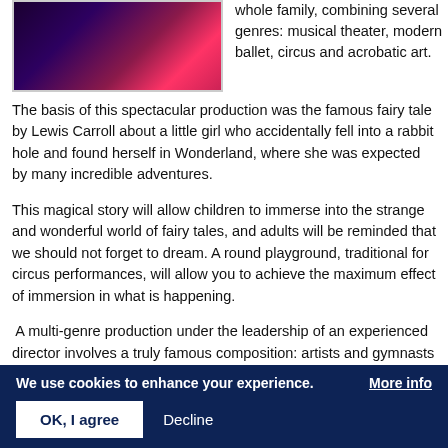[Figure (photo): A photo showing performers/characters with colorful pink and purple lighting, likely from a circus or theatrical production]
whole family, combining several genres: musical theater, modern ballet, circus and acrobatic art.
The basis of this spectacular production was the famous fairy tale by Lewis Carroll about a little girl who accidentally fell into a rabbit hole and found herself in Wonderland, where she was expected by many incredible adventures.
This magical story will allow children to immerse into the strange and wonderful world of fairy tales, and adults will be reminded that we should not forget to dream. A round playground, traditional for circus performances, will allow you to achieve the maximum effect of immersion in what is happening.
A multi-genre production under the leadership of an experienced director involves a truly famous composition: artists and gymnasts
We use cookies to enhance your experience.
More info
OK, I agree
Decline